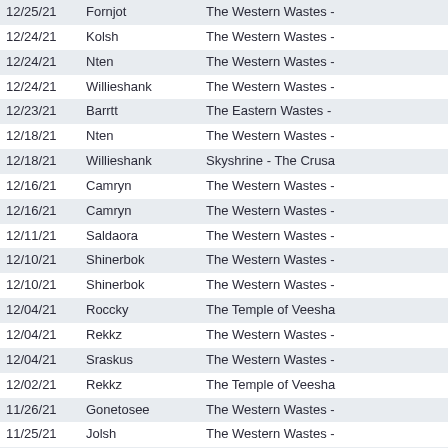| Date | Name | Location |
| --- | --- | --- |
| 12/25/21 | Fornjot | The Western Wastes - |
| 12/24/21 | Kolsh | The Western Wastes - |
| 12/24/21 | Nten | The Western Wastes - |
| 12/24/21 | Willieshank | The Western Wastes - |
| 12/23/21 | Barrtt | The Eastern Wastes - |
| 12/18/21 | Nten | The Western Wastes - |
| 12/18/21 | Willieshank | Skyshrine - The Crusa |
| 12/16/21 | Camryn | The Western Wastes - |
| 12/16/21 | Camryn | The Western Wastes - |
| 12/11/21 | Saldaora | The Western Wastes - |
| 12/10/21 | Shinerbok | The Western Wastes - |
| 12/10/21 | Shinerbok | The Western Wastes - |
| 12/04/21 | Roccky | The Temple of Veesha |
| 12/04/21 | Rekkz | The Western Wastes - |
| 12/04/21 | Sraskus | The Western Wastes - |
| 12/02/21 | Rekkz | The Temple of Veesha |
| 11/26/21 | Gonetosee | The Western Wastes - |
| 11/25/21 | Jolsh | The Western Wastes - |
| 11/25/21 | Jolsh | The Western Wastes - |
| 11/25/21 | Peydude | The Western Wastes - |
| 11/20/21 | Cheeza | The Sleepers Tomb - |
| 11/20/21 | Milobel | The Western Wastes - |
| 11/20/21 | Bulanna | The Western Wastes - |
| 11/20/21 | Milobel | The Western Wastes - |
| 11/20/21 | Pymm | The Western Wastes - |
| 11/13/21 | Cheeza | The Sleepers Tomb - |